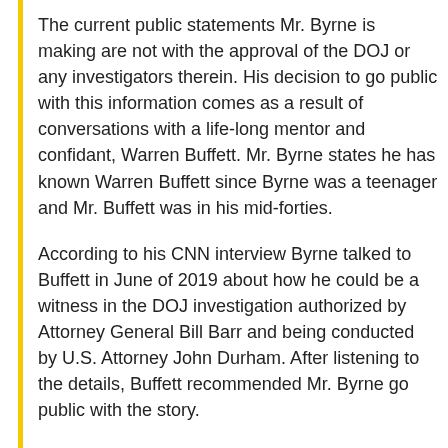The current public statements Mr. Byrne is making are not with the approval of the DOJ or any investigators therein. His decision to go public with this information comes as a result of conversations with a life-long mentor and confidant, Warren Buffett. Mr. Byrne states he has known Warren Buffett since Byrne was a teenager and Mr. Buffett was in his mid-forties.
According to his CNN interview Byrne talked to Buffett in June of 2019 about how he could be a witness in the DOJ investigation authorized by Attorney General Bill Barr and being conducted by U.S. Attorney John Durham. After listening to the details, Buffett recommended Mr. Byrne go public with the story.